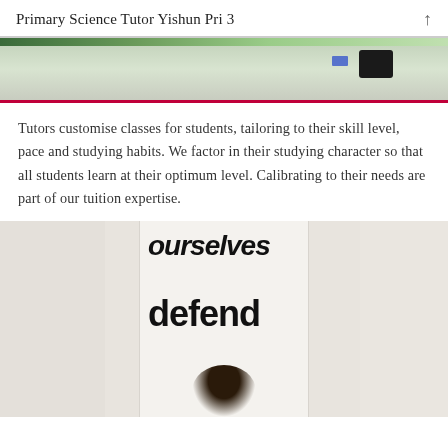Primary Science Tutor Yishun Pri 3
[Figure (photo): Top portion of a photo showing a classroom or tutoring environment, partially cut off. A pink/crimson horizontal bar separates the header from main content.]
Tutors customise classes for students, tailoring to their skill level, pace and studying habits. We factor in their studying character so that all students learn at their optimum level. Calibrating to their needs are part of our tuition expertise.
[Figure (photo): Photo of a student or person in front of a poster/banner with large bold text reading 'ourselves' at the top and 'defend' in the lower section. The person's head (dark hair) is visible at the bottom of the image.]